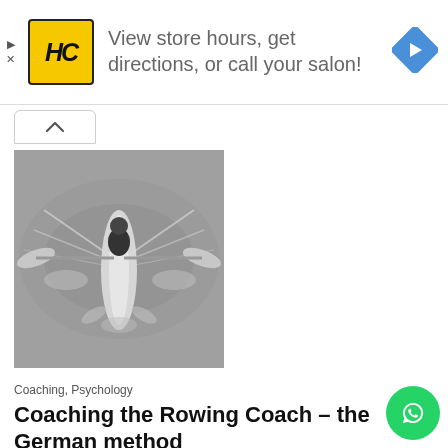[Figure (infographic): Advertisement banner with HC logo in yellow square, text 'View store hours, get directions, or call your salon!' and a blue diamond navigation arrow icon on the right]
[Figure (photo): Black and white aerial photograph of a solo rower in a scull on water, viewed from above, with oars extended creating symmetrical splashes]
Coaching,  Psychology
Coaching the Rowing Coach – the German method